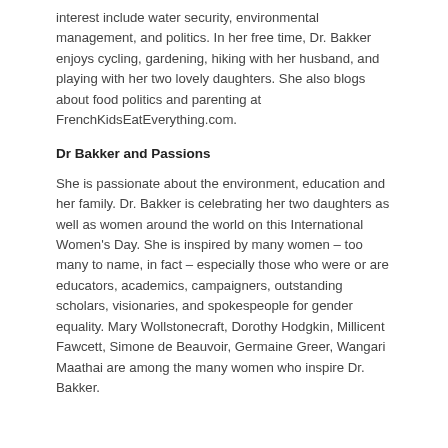interest include water security, environmental management, and politics. In her free time, Dr. Bakker enjoys cycling, gardening, hiking with her husband, and playing with her two lovely daughters. She also blogs about food politics and parenting at FrenchKidsEatEverything.com.
Dr Bakker and Passions
She is passionate about the environment, education and her family. Dr. Bakker is celebrating her two daughters as well as women around the world on this International Women's Day. She is inspired by many women – too many to name, in fact – especially those who were or are educators, academics, campaigners, outstanding scholars, visionaries, and spokespeople for gender equality. Mary Wollstonecraft, Dorothy Hodgkin, Millicent Fawcett, Simone de Beauvoir, Germaine Greer, Wangari Maathai are among the many women who inspire Dr. Bakker.